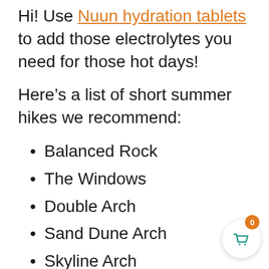Hi! Use Nuun hydration tablets to add those electrolytes you need for those hot days!
Here's a list of short summer hikes we recommend:
Balanced Rock
The Windows
Double Arch
Sand Dune Arch
Skyline Arch